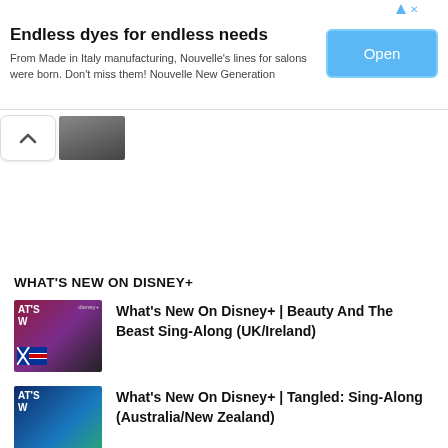[Figure (infographic): Advertisement banner: 'Endless dyes for endless needs' with Open button]
Endless dyes for endless needs
From Made in Italy manufacturing, Nouvelle's lines for salons were born. Don't miss them! Nouvelle New Generation
[Figure (screenshot): Collapsed scroll button with chevron up icon and partial thumbnail image]
WHAT'S NEW ON DISNEY+
What's New On Disney+ | Beauty And The Beast Sing-Along (UK/Ireland)
What's New On Disney+ | Tangled: Sing-Along (Australia/New Zealand)